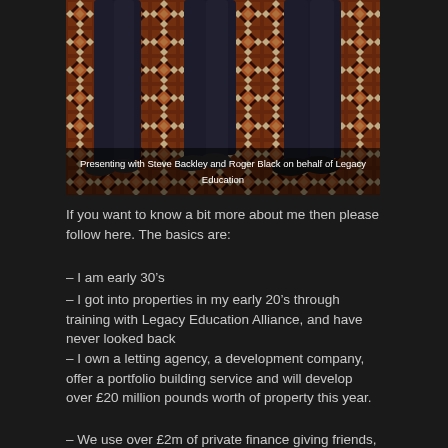[Figure (photo): Photograph showing lower bodies/legs of three people standing on a decorative geometric patterned carpet, taken from waist down]
Presenting with Steve Backley and Roger Black on behalf of Legacy Education
If you want to know a bit more about me then please follow here. The basics are:
– I am early 30's
– I got into properties in my early 20's through training with Legacy Education Alliance, and have never looked back
– I own a letting agency, a development company, offer a portfolio building service and will develop over £20 million pounds worth of property this year.
– We use over £2m of private finance giving friends, family